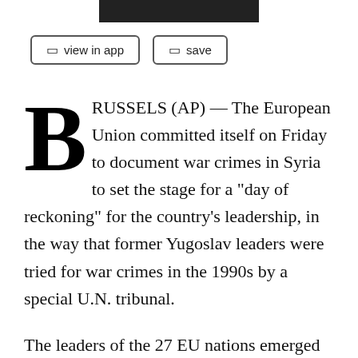[Figure (other): Black rectangular banner/header bar at top of page]
view in app   save
BRUSSELS (AP) — The European Union committed itself on Friday to document war crimes in Syria to set the stage for a "day of reckoning" for the country's leadership, in the way that former Yugoslav leaders were tried for war crimes in the 1990s by a special U.N. tribunal.
The leaders of the 27 EU nations emerged from a two-day summit in Brussels condemning Syrian President Bashar Assad's regime for its nearly yearlong crackdown on an uprising that began with mostly